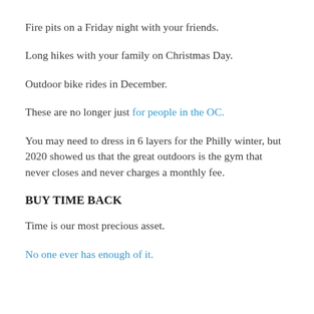Fire pits on a Friday night with your friends.
Long hikes with your family on Christmas Day.
Outdoor bike rides in December.
These are no longer just for people in the OC.
You may need to dress in 6 layers for the Philly winter, but 2020 showed us that the great outdoors is the gym that never closes and never charges a monthly fee.
BUY TIME BACK
Time is our most precious asset.
No one ever has enough of it.